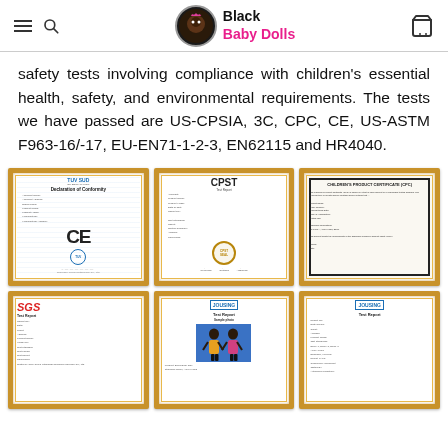Black Baby Dolls
safety tests involving compliance with children's essential health, safety, and environmental requirements. The tests we have passed are US-CPSIA, 3C, CPC, CE, US-ASTM F963-16/-17, EU-EN71-1-2-3, EN62115 and HR4040.
[Figure (photo): Six framed certificates displayed in a 3x2 grid: CE Declaration of Conformity, CPST Test Report, CPC Children's Product Certificate, SGS Test Report, Test Report with doll photo, and another Test Report. All have ornate gold frames.]